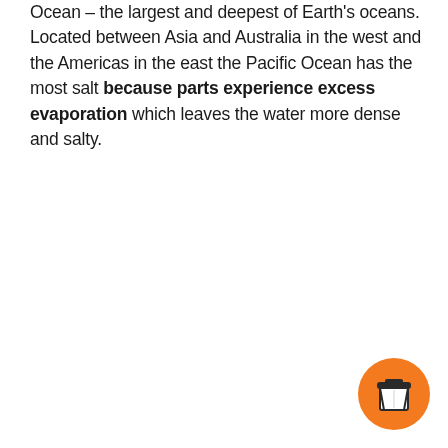Ocean – the largest and deepest of Earth's oceans. Located between Asia and Australia in the west and the Americas in the east the Pacific Ocean has the most salt because parts experience excess evaporation which leaves the water more dense and salty.
[Figure (logo): Orange circular button with a coffee/takeaway cup icon in dark color at bottom right corner]